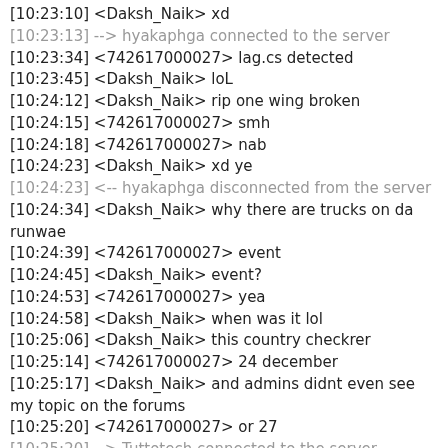[10:23:10] <Daksh_Naik> xd
[10:23:13] --> hyakaphga connected to the server
[10:23:34] <742617000027> lag.cs detected
[10:23:45] <Daksh_Naik> loL
[10:24:12] <Daksh_Naik> rip one wing broken
[10:24:15] <742617000027> smh
[10:24:18] <742617000027> nab
[10:24:23] <Daksh_Naik> xd ye
[10:24:23] <-- hyakaphga disconnected from the server
[10:24:34] <Daksh_Naik> why there are trucks on da runwae
[10:24:39] <742617000027> event
[10:24:45] <Daksh_Naik> event?
[10:24:53] <742617000027> yea
[10:24:58] <Daksh_Naik> when was it lol
[10:25:06] <Daksh_Naik> this country checkrer
[10:25:14] <742617000027> 24 december
[10:25:17] <Daksh_Naik> and admins didnt even see my topic on the forums
[10:25:20] <742617000027> or 27
[10:25:20] --> Tuttotech connected to the server
[10:25:25] <Daksh_Naik> missed that event
[10:25:52] <Daksh_Naik> O_o
[10:25:58] <742617000027> huh?
[10:26:00] <Daksh_Naik> so fast even with a dodo
[10:26:11] <742617000027> speedhax